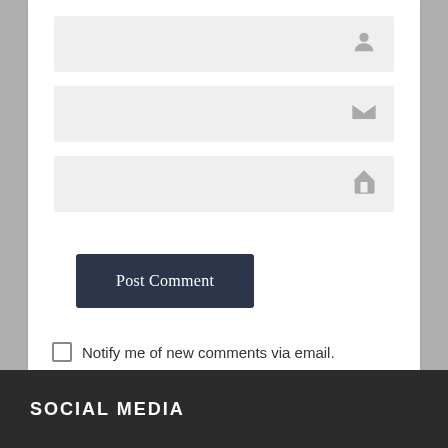[Figure (screenshot): Input field with user/person icon on the right]
[Figure (screenshot): Input field with email/envelope icon on the right]
[Figure (screenshot): Input field with home/house icon on the right]
Post Comment
Notify me of new comments via email.
Notify me of new posts via email.
SOCIAL MEDIA